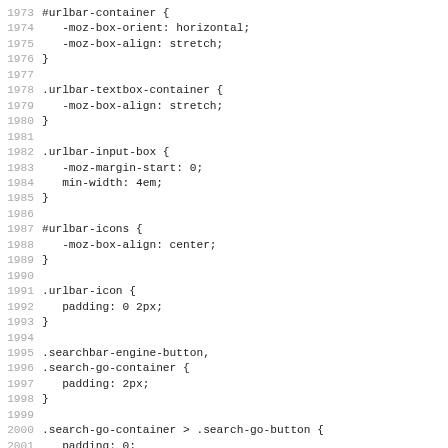CSS source code lines 1973-2005, showing rules for #urlbar-container, .urlbar-textbox-container, .urlbar-input-box, #urlbar-icons, .urlbar-icon, .searchbar-engine-button, .search-go-container, .search-go-container > .search-go-button, .urlbar-icon:hover